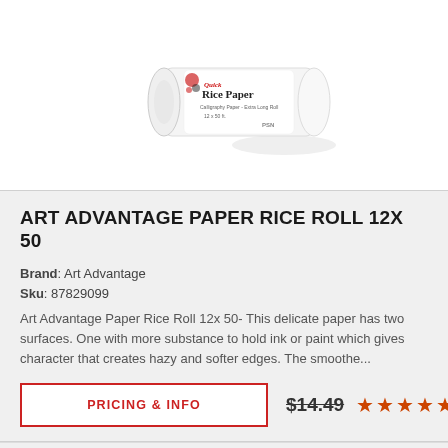[Figure (photo): A roll of Art Advantage Rice Paper, white with red and black decorative label text reading 'Rice Paper', photographed on white background]
ART ADVANTAGE PAPER RICE ROLL 12X 50
Brand: Art Advantage
Sku: 87829099
Art Advantage Paper Rice Roll 12x 50- This delicate paper has two surfaces. One with more substance to hold ink or paint which gives character that creates hazy and softer edges. The smoothe...
PRICING & INFO
$14.49 ★★★★★